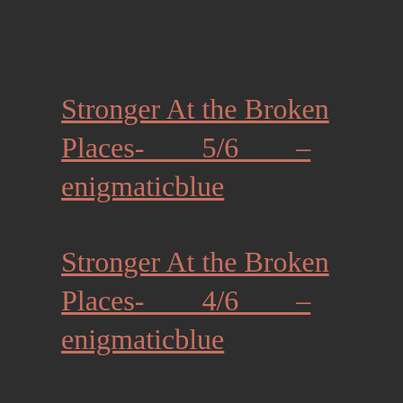Stronger At the Broken Places-        5/6        – enigmaticblue
Stronger At the Broken Places-        4/6        – enigmaticblue